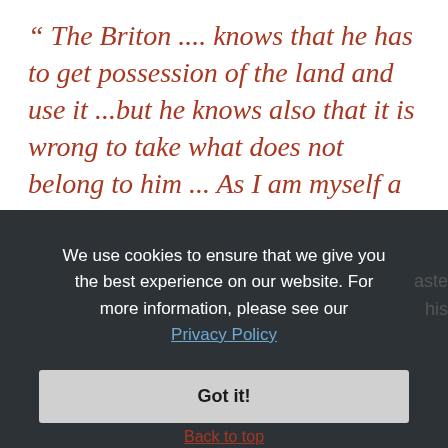“ The Briton .... knows that he has to get possession of the land and use it ...but he knows also that it is wrong to take what does not belong to him ... As I am myself a Briton I am not a fair critic ... but it does seem to me that he is upon the whole beneficent, though occasionally very unjust.”
We use cookies to ensure that we give you the best experience on our website. For more information, please see our Privacy Policy
Got it!